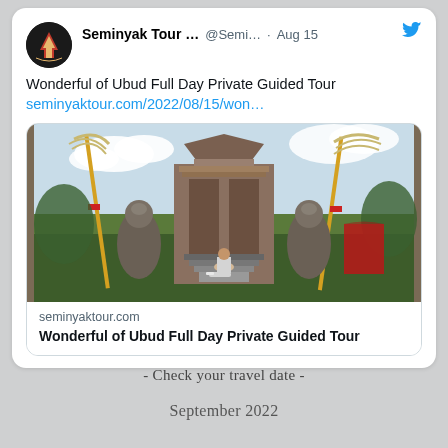[Figure (screenshot): A Twitter/X post by Seminyak Tour (@Semi...) dated Aug 15, featuring a photo of a Balinese temple (Ubud) with decorative brooms/penjor flags, stone carvings, and a person sitting on temple steps. Below the photo is a link preview card showing seminyaktour.com and the title 'Wonderful of Ubud Full Day Private Guided Tour'.]
- Check your travel date -
September 2022